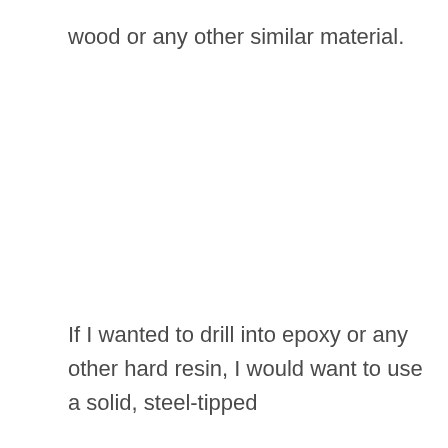wood or any other similar material.
If I wanted to drill into epoxy or any other hard resin, I would want to use a solid, steel-tipped